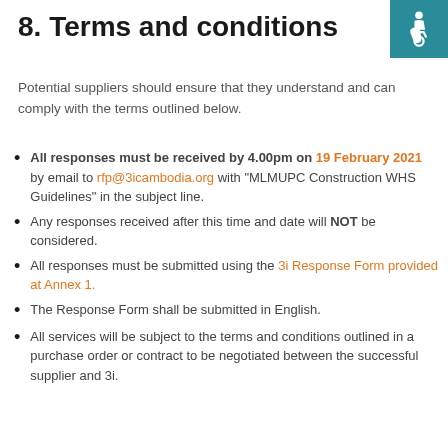8. Terms and conditions
Potential suppliers should ensure that they understand and can comply with the terms outlined below.
All responses must be received by 4.00pm on 19 February 2021 by email to rfp@3icambodia.org with “MLMUPC Construction WHS Guidelines” in the subject line.
Any responses received after this time and date will NOT be considered.
All responses must be submitted using the 3i Response Form provided at Annex 1.
The Response Form shall be submitted in English.
All services will be subject to the terms and conditions outlined in a purchase order or contract to be negotiated between the successful supplier and 3i.